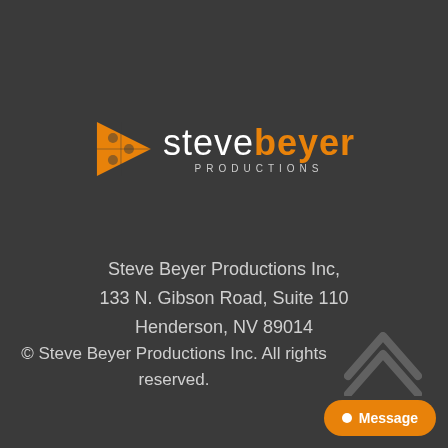[Figure (logo): Steve Beyer Productions logo: orange puzzle-piece play button icon followed by text 'stevebeyer' in white/orange and 'PRODUCTIONS' in small spaced letters below]
Steve Beyer Productions Inc,
133 N. Gibson Road, Suite 110
Henderson, NV 89014
© Steve Beyer Productions Inc. All rights reserved.